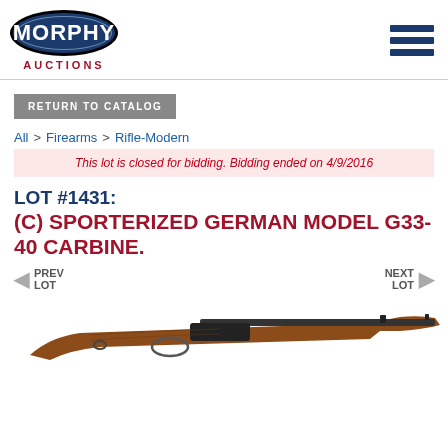[Figure (logo): Morphy Auctions logo — blue oval with MORPHY text in white, AUCTIONS in red below]
RETURN TO CATALOG
All > Firearms > Rifle-Modern
This lot is closed for bidding. Bidding ended on 4/9/2016
LOT #1431:
(C) SPORTERIZED GERMAN MODEL G33-40 CARBINE.
PREV LOT
NEXT LOT
[Figure (photo): Photo of a sporterized German Model G33-40 carbine rifle with wooden stock]